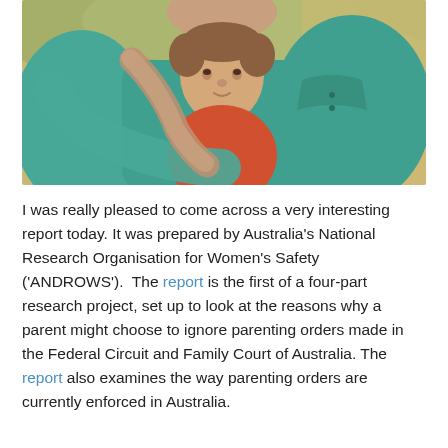[Figure (photo): An adult (visible from neck down) wearing a teal/green polo shirt hugging a young boy wearing an orange/red t-shirt from behind. Both are outdoors with a warm, blurred natural background. The child is smiling slightly upward.]
I was really pleased to come across a very interesting report today. It was prepared by Australia's National Research Organisation for Women's Safety ('ANDROWS').  The report is the first of a four-part research project, set up to look at the reasons why a parent might choose to ignore parenting orders made in the Federal Circuit and Family Court of Australia. The report also examines the way parenting orders are currently enforced in Australia.